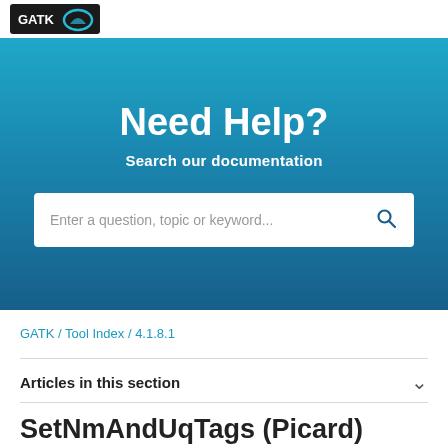[Figure (logo): GATK logo on dark background with blue wave element]
Need Help?
Search our documentation
Enter a question, topic or keyword...
GATK / Tool Index / 4.1.8.1
Articles in this section
SetNmAndUqTags (Picard)